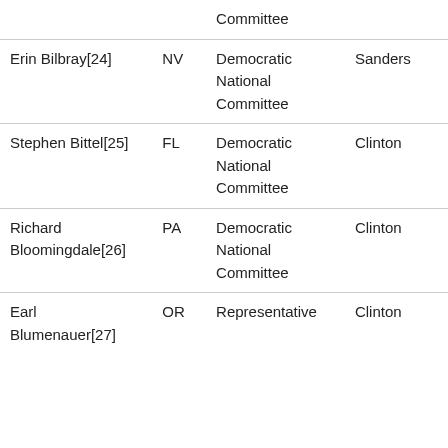|  |  | Committee |  |
| Erin Bilbray[24] | NV | Democratic National Committee | Sanders |
| Stephen Bittel[25] | FL | Democratic National Committee | Clinton |
| Richard Bloomingdale[26] | PA | Democratic National Committee | Clinton |
| Earl Blumenauer[27] | OR | Representative | Clinton |